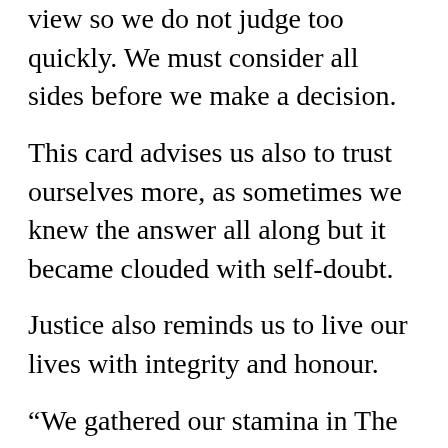view so we do not judge too quickly. We must consider all sides before we make a decision.
This card advises us also to trust ourselves more, as sometimes we knew the answer all along but it became clouded with self-doubt.
Justice also reminds us to live our lives with integrity and honour.
“We gathered our stamina in The Chariot, refined it in Strength, let it gestate in The Hermit and had it tested through The Wheel of Fortune. At Justice, we are standing in a